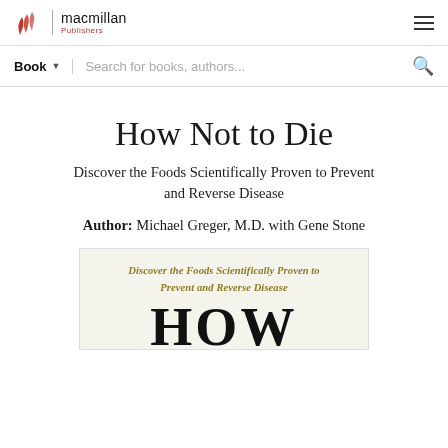[Figure (logo): Macmillan Publishers logo with stylized red feather icon and text]
Book  Search for books, authors...
How Not to Die
Discover the Foods Scientifically Proven to Prevent and Reverse Disease
Author:  Michael Greger, M.D. with Gene Stone
[Figure (illustration): Book cover preview showing olive/gold text 'Discover the Foods Scientifically Proven to Prevent and Reverse Disease' and large serif 'HOW' text below, on a light cream background]